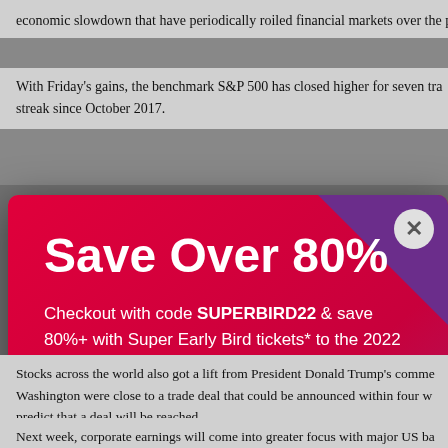economic slowdown that have periodically roiled financial markets over the p
With Friday's gains, the benchmark S&P 500 has closed higher for seven tra streak since October 2017.
[Figure (screenshot): A modal advertisement overlay for Morningstar 2022 Investor Conference. Red/magenta gradient background with purple triangle top right. Large white text: 'Save Over 80%'. Subtitle: 'Checkout with code SUPERBIRD22 & save 80%+ with Super Early Bird tickets* to the 2022 Morningstar Investor Conference for Individual Investors.' White pill-shaped button with red text: 'Register'. Footer: disclaimer text and Morningstar logo. Close button (X) top right.]
Stocks across the world also got a lift from President Donald Trump's comme Washington were close to a trade deal that could be announced within four w predict that a deal will be reached.
Next week, corporate earnings will come into greater focus with major US ba results. Analysts expect earnings for S&P 500 companies to fall year-over-ye